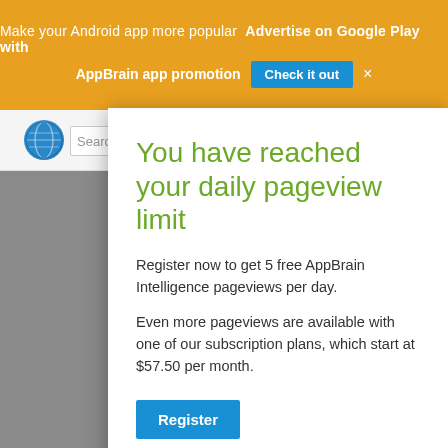Make your Android app more popular  Advertise on Google Play with AppBrain app promotion  Check it out  ×
You have reached your daily pageview limit
Register now to get 5 free AppBrain Intelligence pageviews per day.
Even more pageviews are available with one of our subscription plans, which start at $57.50 per month.
Register
Are you the developer of this app? Claim your app to get free and unrestricted access to your app and developer data.